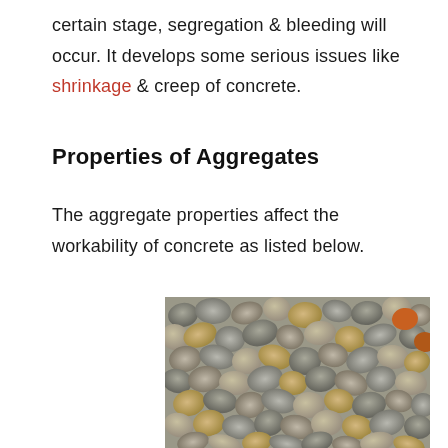certain stage, segregation & bleeding will occur. It develops some serious issues like shrinkage & creep of concrete.
Properties of Aggregates
The aggregate properties affect the workability of concrete as listed below.
[Figure (photo): Close-up photograph of coarse aggregate (gravel/crushed stone) showing various grey, beige, and brown stones of varying sizes.]